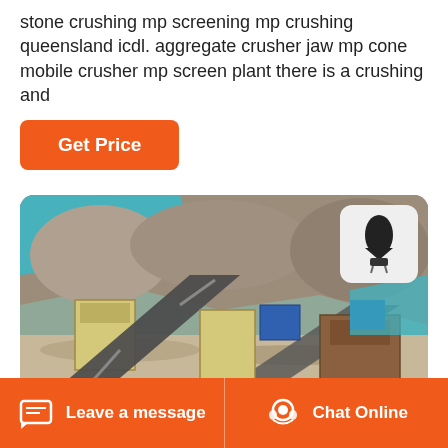stone crushing mp screening mp crushing queensland icdl. aggregate crusher jaw mp cone mobile crusher mp screen plant there is a crushing and
Get Price
[Figure (photo): Outdoor quarry site showing industrial stone crushing and screening machinery including conveyor belts, jaw crushers, and aggregate processing equipment set among rocky terrain with blue tarps visible in background.]
Leave a message  Chat Online